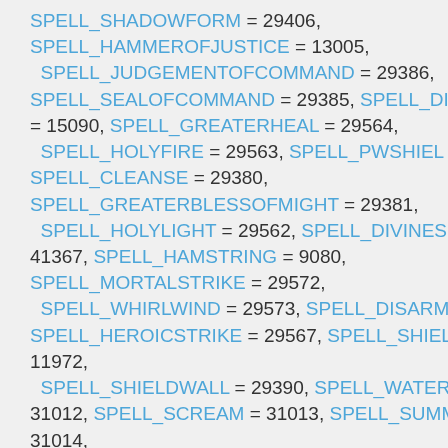SPELL_SHADOWFORM = 29406, SPELL_HAMMEROFJUSTICE = 13005, SPELL_JUDGEMENTOFCOMMAND = 29386, SPELL_SEALOFCOMMAND = 29385, SPELL_DI = 15090, SPELL_GREATERHEAL = 29564, SPELL_HOLYFIRE = 29563, SPELL_PWSHIELD SPELL_CLEANSE = 29380, SPELL_GREATERBLESSOFMIGHT = 29381, SPELL_HOLYLIGHT = 29562, SPELL_DIVINES 41367, SPELL_HAMSTRING = 9080, SPELL_MORTALSTRIKE = 29572, SPELL_WHIRLWIND = 29573, SPELL_DISARM SPELL_HEROICSTRIKE = 29567, SPELL_SHIEL 11972, SPELL_SHIELDWALL = 29390, SPELL_WATERF 31012, SPELL_SCREAM = 31013, SPELL_SUMM 31014, SPELL_YIPPING = 31015, SPELL_BRAIN_BAS SPELL_BRAIN_WIPE = 31069, SPELL_BURNIN 31075, SPELL_CLEAVE = 31042, SPELL_DUST = 310